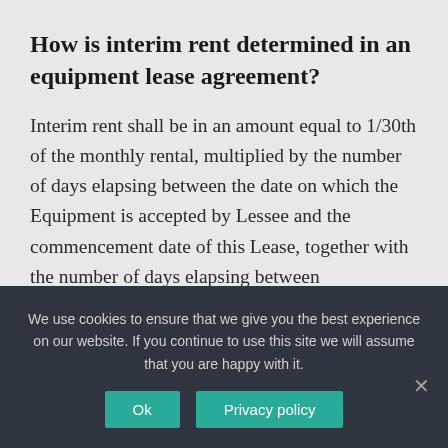How is interim rent determined in an equipment lease agreement?
Interim rent shall be in an amount equal to 1/30th of the monthly rental, multiplied by the number of days elapsing between the date on which the Equipment is accepted by Lessee and the commencement date of this Lease, together with the number of days elapsing between commencement of the Lease and the due date of the
We use cookies to ensure that we give you the best experience on our website. If you continue to use this site we will assume that you are happy with it.